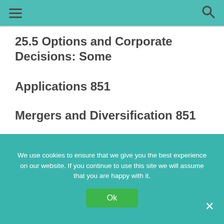≡  [search icon]
25.5 Options and Corporate Decisions: Some Applications 851
Mergers and Diversification 851
Options and Capital Budgeting 852
25.6 Summary and Conclusions 854
We use cookies to ensure that we give you the best experience on our website. If you continue to use this site we will assume that you are happy with it.